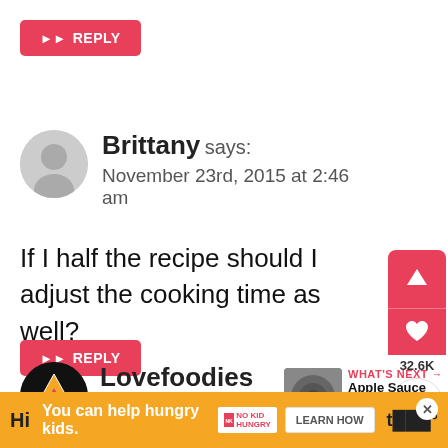[Figure (other): Red REPLY button with arrow icon at top of page]
Brittany says:
November 23rd, 2015 at 2:46 am
If I half the recipe should I adjust the cooking time as well?
[Figure (other): Red REPLY button with arrow icon below Brittany comment]
[Figure (other): Floating action buttons: upvote arrow, heart, 32.6K count, share button]
Lovefoodies says:
November 23rd, 2015 at 2:22 pm
[Figure (other): What's Next thumbnail with Apple Sauce and Walnut...]
[Figure (other): Ad banner: You can help hungry kids. No Kid Hungry. Learn How.]